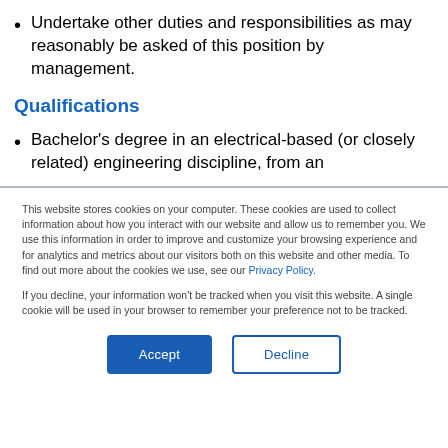Undertake other duties and responsibilities as may reasonably be asked of this position by management.
Qualifications
Bachelor's degree in an electrical-based (or closely related) engineering discipline, from an
This website stores cookies on your computer. These cookies are used to collect information about how you interact with our website and allow us to remember you. We use this information in order to improve and customize your browsing experience and for analytics and metrics about our visitors both on this website and other media. To find out more about the cookies we use, see our Privacy Policy.
If you decline, your information won't be tracked when you visit this website. A single cookie will be used in your browser to remember your preference not to be tracked.